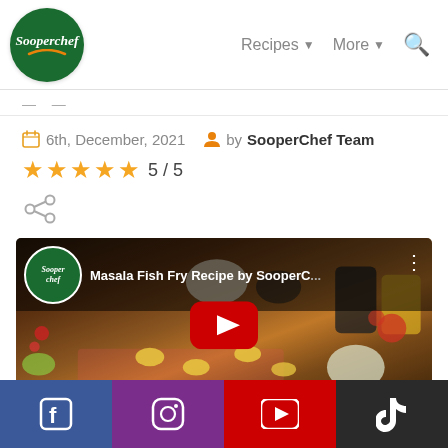[Figure (logo): Sooperchef circular green logo with white italic text and orange swoosh]
Recipes ▾  More ▾  🔍
📅 6th, December, 2021   👤 by SooperChef Team
⭐⭐⭐⭐⭐  5 / 5
[Figure (other): Share icon (grey)]
[Figure (screenshot): YouTube video thumbnail for Masala Fish Fry Recipe by SooperChef with play button overlay and Sooperchef logo]
[Figure (infographic): Social media bar with Facebook, Instagram, YouTube, TikTok icons]